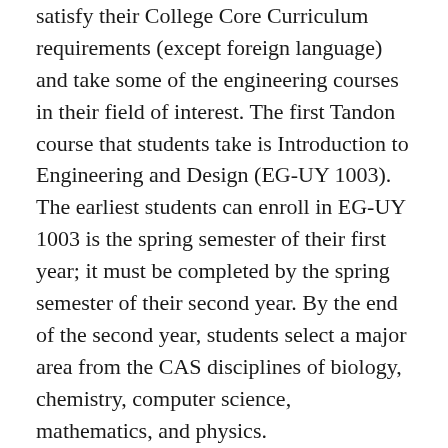satisfy their College Core Curriculum requirements (except foreign language) and take some of the engineering courses in their field of interest. The first Tandon course that students take is Introduction to Engineering and Design (EG-UY 1003). The earliest students can enroll in EG-UY 1003 is the spring semester of their first year; it must be completed by the spring semester of their second year. By the end of the second year, students select a major area from the CAS disciplines of biology, chemistry, computer science, mathematics, and physics.
The final two years of study are undertaken at the NYU Tandon School of Engineering in downtown Brooklyn, across the East River and a short subway or shuttle bus ride from NYU's Greenwich